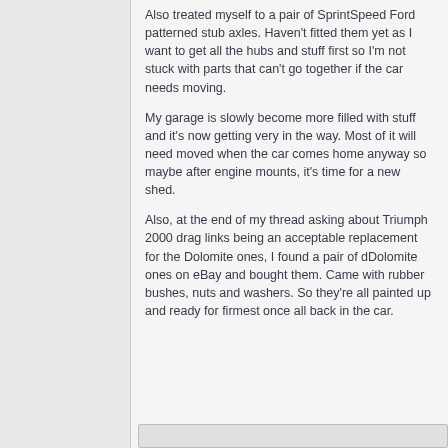Also treated myself to a pair of SprintSpeed Ford patterned stub axles. Haven't fitted them yet as I want to get all the hubs and stuff first so I'm not stuck with parts that can't go together if the car needs moving.
My garage is slowly become more filled with stuff and it's now getting very in the way. Most of it will need moved when the car comes home anyway so maybe after engine mounts, it's time for a new shed.
Also, at the end of my thread asking about Triumph 2000 drag links being an acceptable replacement for the Dolomite ones, I found a pair of dDolomite ones on eBay and bought them. Came with rubber bushes, nuts and washers. So they're all painted up and ready for firmest once all back in the car.